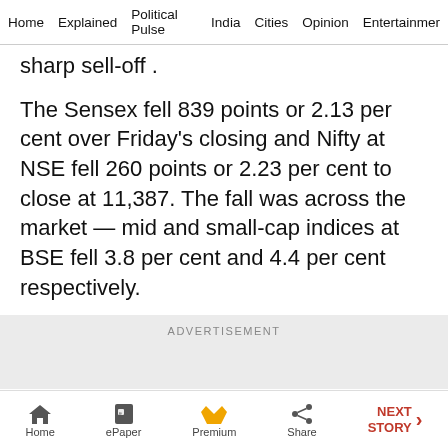Home   Explained   Political Pulse   India   Cities   Opinion   Entertainment
sharp sell-off .
The Sensex fell 839 points or 2.13 per cent over Friday's closing and Nifty at NSE fell 260 points or 2.23 per cent to close at 11,387. The fall was across the market — mid and small-cap indices at BSE fell 3.8 per cent and 4.4 per cent respectively.
ADVERTISEMENT
Home   ePaper   Premium   Share   NEXT STORY